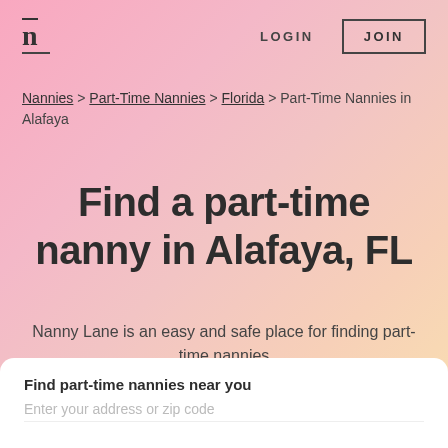[Figure (logo): Nanny Lane logo: stylized 'n' with overline and underline, dark color]
LOGIN   JOIN
Nannies > Part-Time Nannies > Florida > Part-Time Nannies in Alafaya
Find a part-time nanny in Alafaya, FL
Nanny Lane is an easy and safe place for finding part-time nannies
Find part-time nannies near you